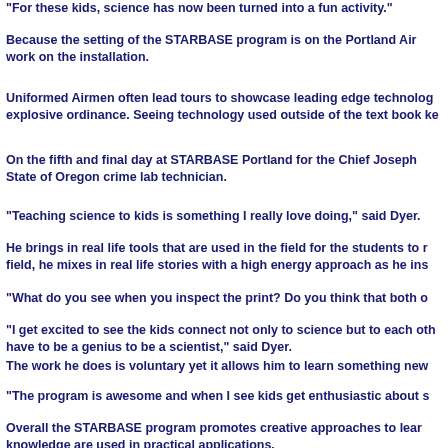"For these kids, science has now been turned into a fun activity."
Because the setting of the STARBASE program is on the Portland Air work on the installation.
Uniformed Airmen often lead tours to showcase leading edge technolo explosive ordinance. Seeing technology used outside of the text book ke
On the fifth and final day at STARBASE Portland for the Chief Joseph State of Oregon crime lab technician.
"Teaching science to kids is something I really love doing," said Dyer.
He brings in real life tools that are used in the field for the students to r field, he mixes in real life stories with a high energy approach as he ins
"What do you see when you inspect the print? Do you think that both o
"I get excited to see the kids connect not only to science but to each oth have to be a genius to be a scientist," said Dyer.
The work he does is voluntary yet it allows him to learn something new
"The program is awesome and when I see kids get enthusiastic about s
Overall the STARBASE program promotes creative approaches to lear knowledge are used in practical applications.